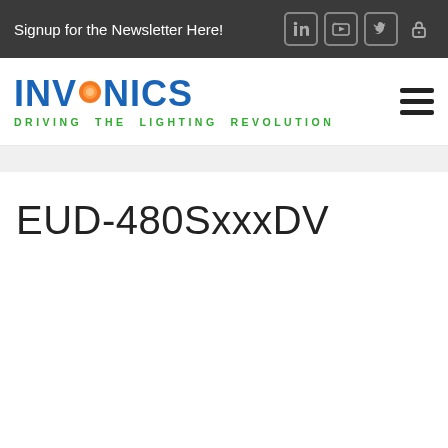Signup for the Newsletter Here!
[Figure (logo): Inventronics logo with blue text and orange circle, tagline DRIVING THE LIGHTING REVOLUTION in green]
EUD-480SxxxDV